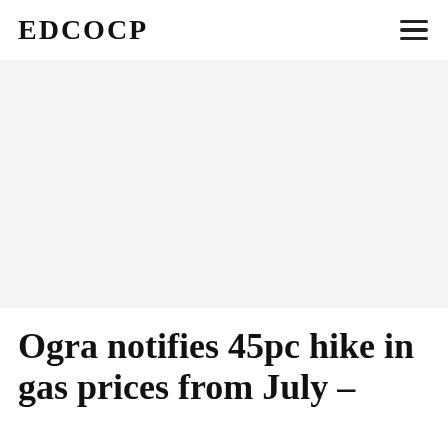EDCOCP
[Figure (other): Advertisement banner, large white/gray rectangular area]
Ogra notifies 45pc hike in gas prices from July –